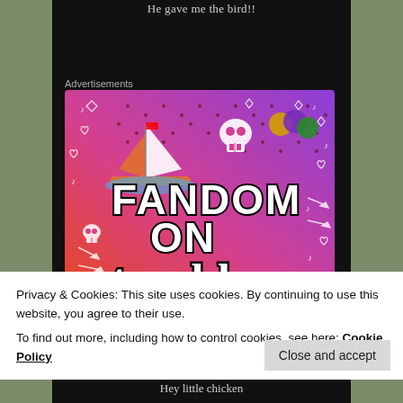He gave me the bird!!
Advertisements
[Figure (illustration): Colorful advertisement banner for 'Fandom on tumblr' featuring orange-to-purple gradient background with white doodles (skulls, arrows, hearts, music notes, dice), a sailboat illustration in the upper left, and bold white text reading FANDOM ON tumblr]
Privacy & Cookies: This site uses cookies. By continuing to use this website, you agree to their use.
To find out more, including how to control cookies, see here: Cookie Policy
Close and accept
Hey little chicken